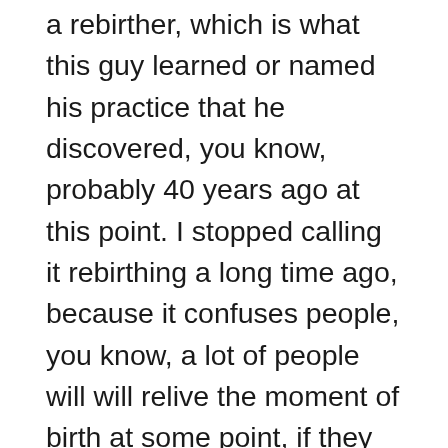a rebirther, which is what this guy learned or named his practice that he discovered, you know, probably 40 years ago at this point. I stopped calling it rebirthing a long time ago, because it confuses people, you know, a lot of people will will relive the moment of birth at some point, if they do this breathing practice, because it is traumatic for everybody concerned and this type of reading is very effective, as I said in healing trauma. So that's one trauma that people will often comes up for people to heal, but but it creates this expectation, calling it rebirth and creates an expectation that you have to have that